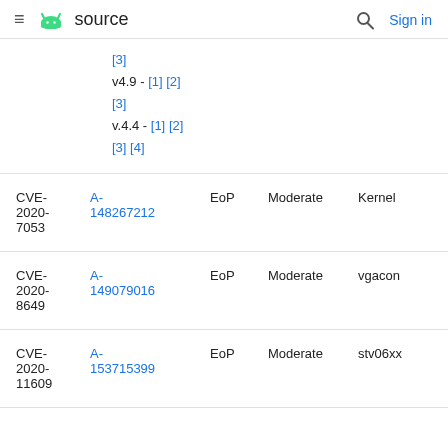source   Sign in
[3]
v4.9 - [1] [2] [3]
v.4.4 - [1] [2] [3] [4]
| CVE | References | Type | Severity | Component |
| --- | --- | --- | --- | --- |
| CVE-2020-7053 | A-148267212 | EoP | Moderate | Kernel |
| CVE-2020-8649 | A-149079016 | EoP | Moderate | vgacon |
| CVE-2020-11609 | A-153715399 | EoP | Moderate | stv06xx |